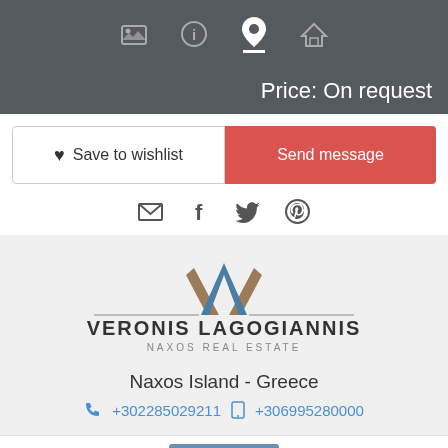[Figure (screenshot): Navigation bar with icons: image/gallery, info, location pin (active), home]
Price: On request
♥ Save to wishlist
Send message
[Figure (illustration): Social sharing icons: email, Facebook, Twitter, Pinterest]
[Figure (logo): Veronis Lagogiannis Naxos Real Estate logo with stylized VA monogram]
Naxos Island - Greece
+302285029211  +306995280000
This site uses cookies for technical reasons. They are not used to track you.
I Understand
Privacy Policy
Name